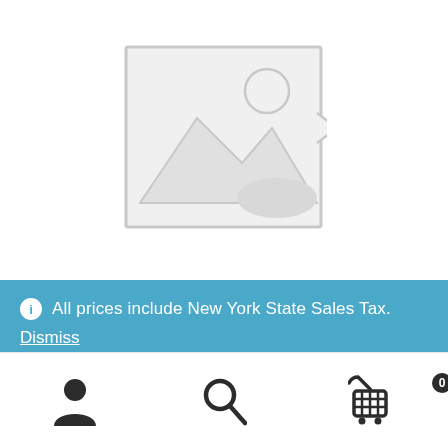[Figure (illustration): Placeholder image icon: a square outline with a mountain and sun silhouette inside, representing a missing product image]
All prices include New York State Sales Tax.
Dismiss
[Figure (infographic): Bottom navigation bar with three icons: user/profile icon, search magnifying glass icon, and shopping cart icon with badge showing 0]